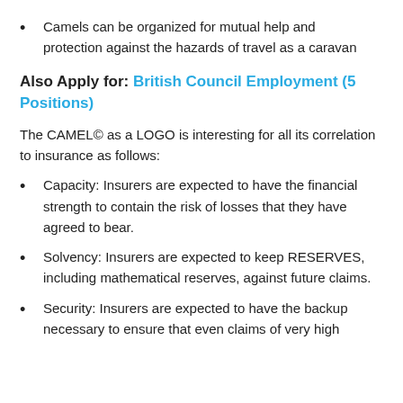Camels can be organized for mutual help and protection against the hazards of travel as a caravan
Also Apply for: British Council Employment (5 Positions)
The CAMEL© as a LOGO is interesting for all its correlation to insurance as follows:
Capacity: Insurers are expected to have the financial strength to contain the risk of losses that they have agreed to bear.
Solvency: Insurers are expected to keep RESERVES, including mathematical reserves, against future claims.
Security: Insurers are expected to have the backup necessary to ensure that even claims of very high